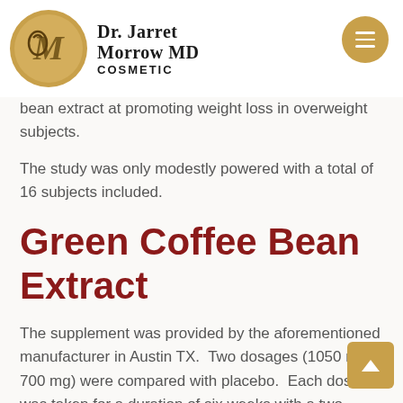Dr. Jarret Morrow MD Cosmetic
bean extract at promoting weight loss in overweight subjects.
The study was only modestly powered with a total of 16 subjects included.
Green Coffee Bean Extract
The supplement was provided by the aforementioned manufacturer in Austin TX.  Two dosages (1050 mg, 700 mg) were compared with placebo.  Each dosage was taken for a duration of six weeks with a two-week washout period